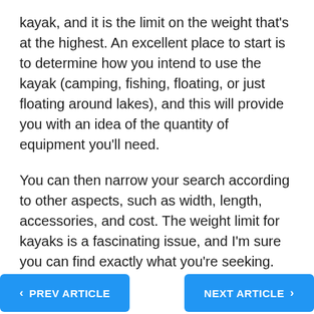kayak, and it is the limit on the weight that’s at the highest. An excellent place to start is to determine how you intend to use the kayak (camping, fishing, floating, or just floating around lakes), and this will provide you with an idea of the quantity of equipment you’ll need.
You can then narrow your search according to other aspects, such as width, length, accessories, and cost. The weight limit for kayaks is a fascinating issue, and I’m sure you can find exactly what you’re seeking.
[Figure (other): Close/dismiss button: black circle with white X icon]
< PREV ARTICLE   NEXT ARTICLE >